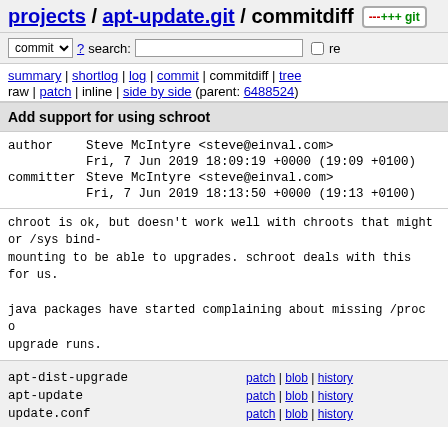projects / apt-update.git / commitdiff
commit ? search: re
summary | shortlog | log | commit | commitdiff | tree
raw | patch | inline | side by side (parent: 6488524)
Add support for using schroot
| author | Steve McIntyre <steve@einval.com> | Fri, 7 Jun 2019 18:09:19 +0000 (19:09 +0100) |
| committer | Steve McIntyre <steve@einval.com> | Fri, 7 Jun 2019 18:13:50 +0000 (19:13 +0100) |
chroot is ok, but doesn't work well with chroots that might
or /sys bind-
mounting to be able to upgrades. schroot deals with this
for us.

java packages have started complaining about missing /proc o
upgrade runs.
| file | links |
| --- | --- |
| apt-dist-upgrade | patch | blob | history |
| apt-update | patch | blob | history |
| update.conf | patch | blob | history |